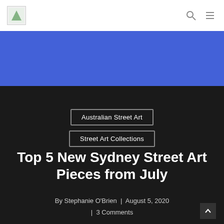Australian Street Art Blog — Navigation bar with logo, search, and menu icons
[Figure (illustration): Blue banner hero image area]
Australian Street Art
Street Art Collections
Top 5 New Sydney Street Art Pieces from July
By Stephanie O'Brien | August 5, 2020 | 3 Comments